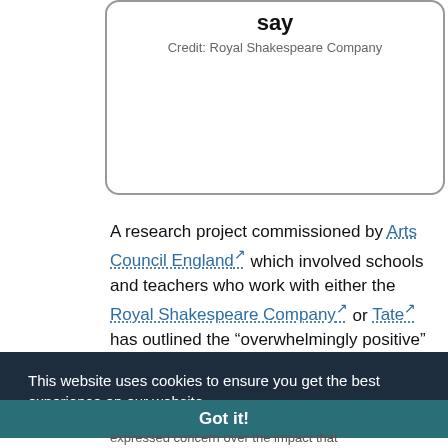[Figure (other): Partial image box with text 'say' and credit line 'Credit: Royal Shakespeare Company', shown with rounded border]
Credit: Royal Shakespeare Company
A research project commissioned by Arts Council England which involved schools and teachers who work with either the Royal Shakespeare Company or Tate has outlined the “overwhelmingy positive”
This website uses cookies to ensure you get the best experience on our website.
Learn more
Got it!
expressed concern over the impact that